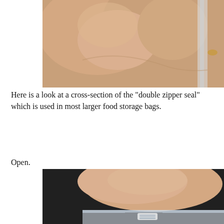[Figure (photo): Close-up photograph of fingers holding a transparent zipper seal of a plastic bag, showing a cross-section view of the double zipper seal mechanism.]
Here is a look at a cross-section of the "double zipper seal" which is used in most larger food storage bags.
Open.
[Figure (photo): Close-up photograph of fingers holding open a small plastic bag showing the double zipper seal in an open position, with dark background.]